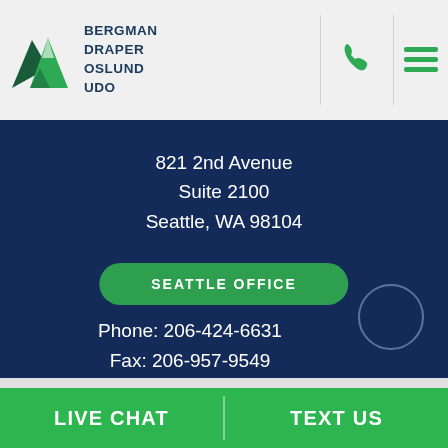[Figure (logo): Bergman Draper Oslund Udo law firm logo with green mountain graphic and firm name in navy text]
821 2nd Avenue
Suite 2100
Seattle, WA 98104
SEATTLE OFFICE
Phone: 206-424-6631
Fax: 206-957-9549
LIVE CHAT
TEXT US